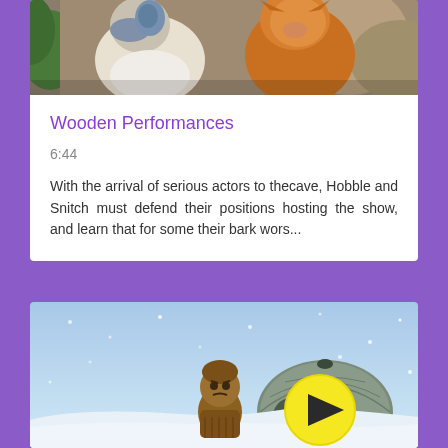[Figure (photo): Animated animal characters from a cave show - a bird-like creature and a fox-like character in a rocky environment]
Wooden Performances
6:44
With the arrival of serious actors to thecave, Hobble and Snitch must defend their positions hosting the show, and learn that for some their bark wors...
[Figure (screenshot): Animated scene with a cartoon character (small furry creature) sitting on a snowy ledge near an igloo, with a yellow play button overlay indicating a video thumbnail]